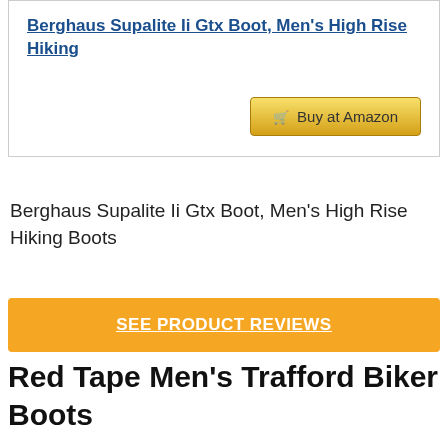Berghaus Supalite Ii Gtx Boot, Men's High Rise Hiking
🛒 Buy at Amazon
Berghaus Supalite Ii Gtx Boot, Men's High Rise Hiking Boots
SEE PRODUCT REVIEWS
Red Tape Men's Trafford Biker Boots